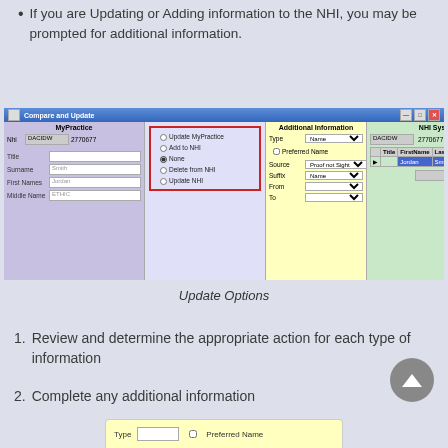If you are Updating or Adding information to the NHI, you may be prompted for additional information.
[Figure (screenshot): Compare and Update dialog window showing MyPractice panel (purple), radio button options panel with Update MyPractice/Add to NHI/None/Delete from NHI/Update NHI options (None selected, bordered in red), Additional Information panel (yellow) with Type/Preferred Name/Source/Suffix/From/To fields, and NHI System panel (green) with Names table showing Jordan Smith EDIE.]
Update Options
Review and determine the appropriate action for each type of information
Complete any additional information